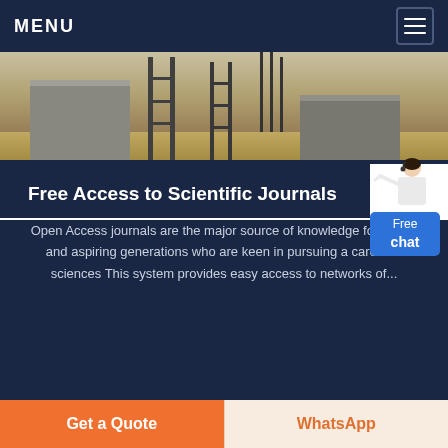MENU
[Figure (photo): Construction site photo showing concrete structures, ladders, rebar, and sandy ground]
Free Access to Scientific Journals
Open Access journals are the major source of knowledge for young and aspiring generations who are keen in pursuing a career in sciences This system provides easy access to networks of...
Chat Now
[Figure (photo): Partial image strip at bottom of page showing people]
Get a Quote
WhatsApp